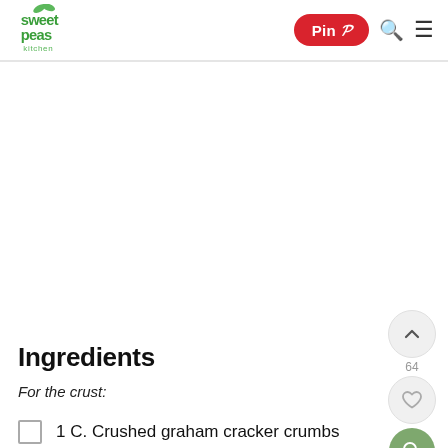Sweet Peas Kitchen — Pin | Search | Menu
Ingredients
For the crust:
1 C. Crushed graham cracker crumbs
2 Tbsp. Sugar
4 Tbsp. Melted butter, unsalted